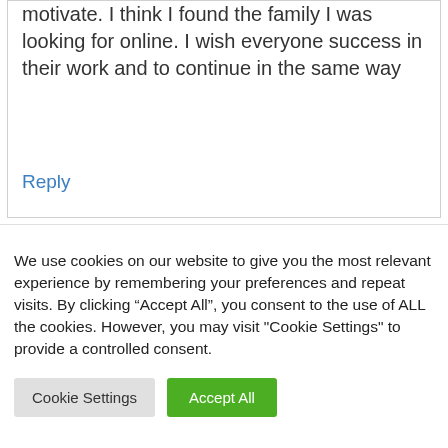motivate. I think I found the family I was looking for online. I wish everyone success in their work and to continue in the same way
Reply
We use cookies on our website to give you the most relevant experience by remembering your preferences and repeat visits. By clicking “Accept All”, you consent to the use of ALL the cookies. However, you may visit "Cookie Settings" to provide a controlled consent.
Cookie Settings
Accept All